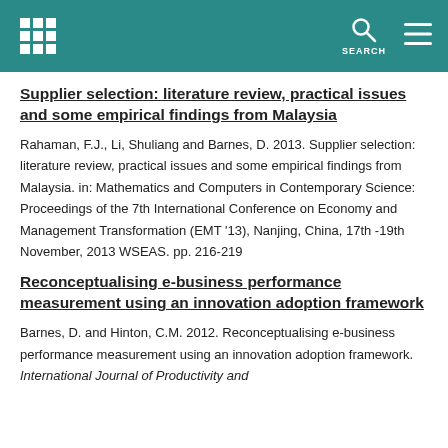Supplier selection: literature review, practical issues and some empirical findings from Malaysia
Rahaman, F.J., Li, Shuliang and Barnes, D. 2013. Supplier selection: literature review, practical issues and some empirical findings from Malaysia. in: Mathematics and Computers in Contemporary Science: Proceedings of the 7th International Conference on Economy and Management Transformation (EMT '13), Nanjing, China, 17th -19th November, 2013 WSEAS. pp. 216-219
Reconceptualising e-business performance measurement using an innovation adoption framework
Barnes, D. and Hinton, C.M. 2012. Reconceptualising e-business performance measurement using an innovation adoption framework. International Journal of Productivity and